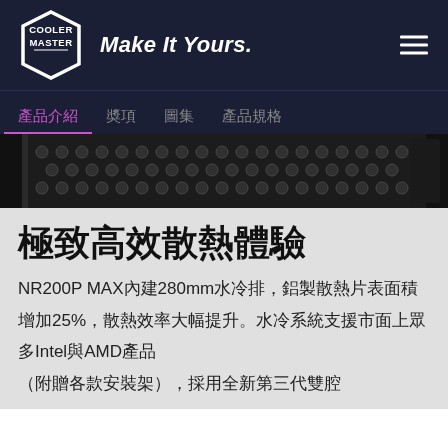Cooler Master — Make It Yours.
[Figure (logo): Cooler Master logo — white hexagonal badge with COOLER MASTER text]
Make It Yours.
[Figure (photo): Close-up photo of a computer case mesh/grille panel showing honeycomb perforated metal pattern]
產品介紹　奬項　圖集　產品規格
極致高效散熱體驗
NR200P MAX內建280mm水冷排，鋁製散熱片表面積增加25%，散熱效率大幅提升。水冷系統支援市面上眾多Intel與AMD產品（附贈各款安裝架），採用全新第三代雙腔